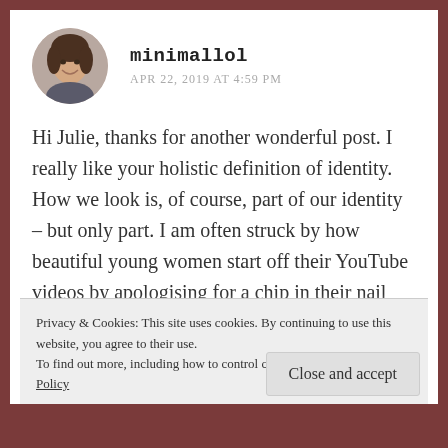[Figure (photo): Circular avatar photo of a smiling woman with dark hair]
minimallol
APR 22, 2019 AT 4:59 PM
Hi Julie, thanks for another wonderful post. I really like your holistic definition of identity. How we look is, of course, part of our identity – but only part. I am often struck by how beautiful young women start off their YouTube videos by apologising for a chip in their nail varnish, or that their hair isn't freshly washed, or they have (wholly imaginary) dark circles etc. Bright
Privacy & Cookies: This site uses cookies. By continuing to use this website, you agree to their use.
To find out more, including how to control cookies, see here: Cookie Policy
Close and accept